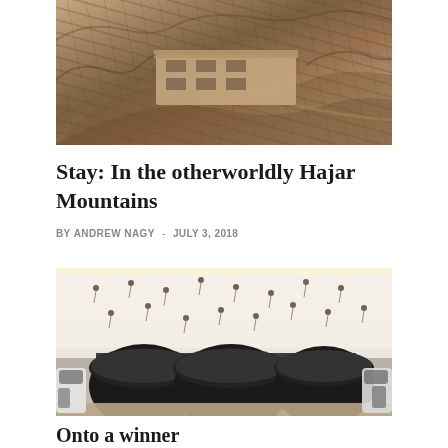[Figure (photo): Aerial view of a building nestled in the rocky Hajar Mountains landscape]
Stay: In the otherworldly Hajar Mountains
BY ANDREW NAGY  -  JULY 3, 2018
[Figure (photo): Interior spa room with large black bowl-shaped basins and decorative wall with scattered umbrella-like fixtures]
Onto a winner